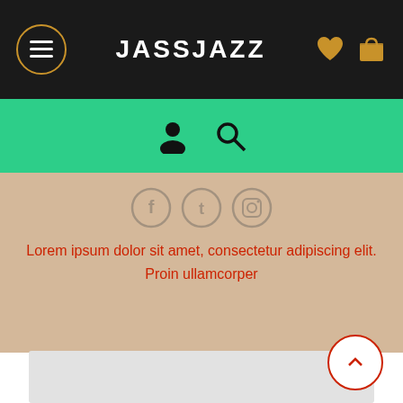JASSJAZZ
[Figure (screenshot): Green navigation bar with user/account icon and search icon]
Lorem ipsum dolor sit amet, consectetur adipiscing elit. Proin ullamcorper
[Figure (illustration): Gray content card placeholder area at bottom of page with back-to-top circular button]